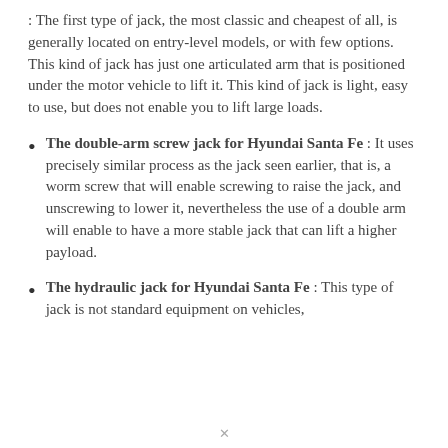: The first type of jack, the most classic and cheapest of all, is generally located on entry-level models, or with few options. This kind of jack has just one articulated arm that is positioned under the motor vehicle to lift it. This kind of jack is light, easy to use, but does not enable you to lift large loads.
The double-arm screw jack for Hyundai Santa Fe : It uses precisely similar process as the jack seen earlier, that is, a worm screw that will enable screwing to raise the jack, and unscrewing to lower it, nevertheless the use of a double arm will enable to have a more stable jack that can lift a higher payload.
The hydraulic jack for Hyundai Santa Fe : This type of jack is not standard equipment on vehicles,